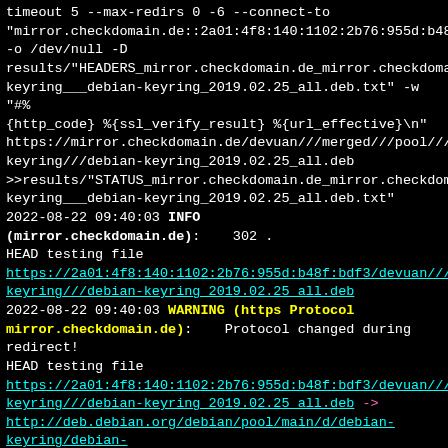timeout 5 --max-redirs 0 -6 --connect-to "mirror.checkdomain.de::2a01:4f8:140:1102:2b76:955d:b48f -o /dev/null -D results/"HEADERS_mirror.checkdomain.de_mirror.checkdomain keyring___debian-keyring_2019.02.25_all.deb.txt" -w "#%{http_code} %{ssl_verify_result} %{url_effective}\n" https://mirror.checkdomain.de/devuan///merged///pool///DB keyring///debian-keyring_2019.02.25_all.deb >>results/"STATUS_mirror.checkdomain.de_mirror.checkdomain keyring___debian-keyring_2019.02.25_all.deb.txt" 2022-08-22 09:40:03 INFO (mirror.checkdomain.de): 302 . HEAD testing file https://2a01:4f8:140:1102:2b76:955d:b48f:bdf3/devuan///merged///p keyring///debian-keyring_2019.02.25_all.deb 2022-08-22 09:40:03 WARNING (https Protocol mirror.checkdomain.de): Protocol changed during redirect! HEAD testing file https://2a01:4f8:140:1102:2b76:955d:b48f:bdf3/devuan///merged///p keyring///debian-keyring_2019.02.25_all.deb -> http://deb.debian.org/debian/pool/main/d/debian-keyring/debian-keyring_2019.02.25_all.deb 2022-08-22 09:40:03 INFO (mirror.checkdomain.de): Redirect to different host. HEAD testing file https://2a01:4f8:140:1102:2b76:955d:b48f:bdf3/devuan///merged///p keyring///debian-keyring_2019.02.25_all.deb -> http://deb.debian.org/debian/pool/main/d/debian-keyring/debian-keyring_2019.02.25_all.deb